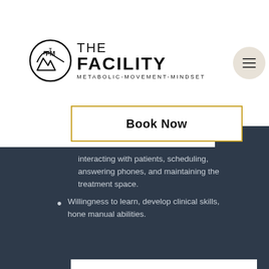[Figure (logo): The Facility logo with circular emblem and text 'THE FACILITY METABOLIC-MOVEMENT-MINDSET']
Book Now
interacting with patients, scheduling, answering phones, and maintaining the treatment space.
Willingness to learn, develop clinical skills, hone manual abilities.
Send Resume + Cover Letter
© 2022 by The Facility Denver.
Privacy Policy